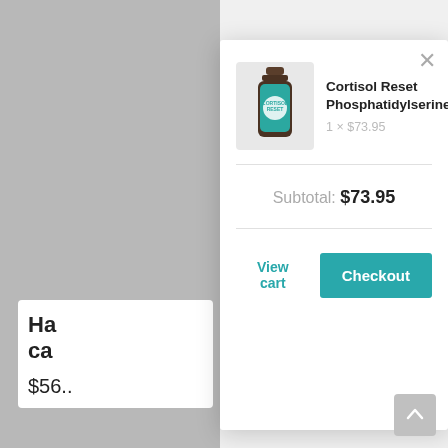[Figure (screenshot): E-commerce shopping cart modal overlay on a product page. Shows a product (Cortisol Reset Phosphatidylserine) at 1 × $73.95, a subtotal of $73.95, and two action buttons: View cart and Checkout.]
Cortisol Reset Phosphatidylserine
1 × $73.95
Subtotal: $73.95
View cart
Checkout